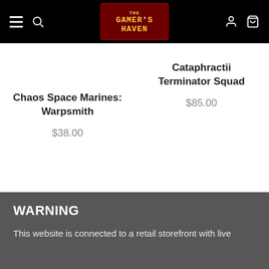The Gamer's Haven - navigation header
Cataphractii Terminator Squad
$85.00
Chaos Space Marines: Warpsmith
$38.00
WARNING
This website is connected to a retail storefront with live